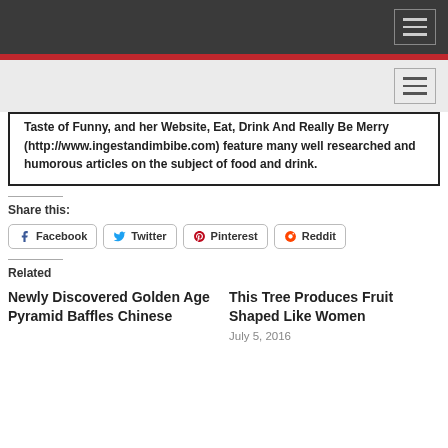[Navigation bar - dark]
[Secondary navigation bar - light gray]
Taste of Funny, and her Website, Eat, Drink And Really Be Merry (http://www.ingestandimbibe.com) feature many well researched and humorous articles on the subject of food and drink.
Share this:
Facebook  Twitter  Pinterest  Reddit
Related
Newly Discovered Golden Age Pyramid Baffles Chinese
This Tree Produces Fruit Shaped Like Women
July 5, 2016